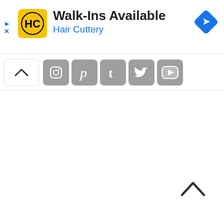[Figure (screenshot): Advertisement banner for Hair Cuttery showing logo, 'Walk-Ins Available' text, and navigation arrow icon]
[Figure (screenshot): Social media icon bar with chevron-up button and social media icons for Instagram, Pinterest, Tumblr, Twitter, YouTube]